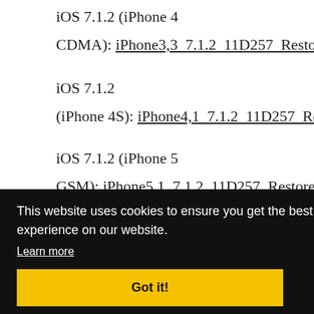iOS 7.1.2 (iPhone 4 CDMA): iPhone3,3_7.1.2_11D257_Restore.ipsw
iOS 7.1.2 (iPhone 4S): iPhone4,1_7.1.2_11D257_Restore
iOS 7.1.2 (iPhone 5 GSM): iPhone5,1_7.1.2_11D257_Restore.ipsw
iOS 7.1.2 (iPhone 5 ...): 7_Reste
re.ipsw
7_Reste
iOS 7.1.2 (iPhone 5s)
This website uses cookies to ensure you get the best experience on our website. Learn more
Got it!